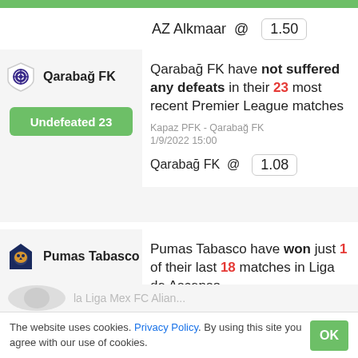AZ Alkmaar @ 1.50
Qarabağ FK
Qarabağ FK have not suffered any defeats in their 23 most recent Premier League matches
Undefeated 23
Kapaz PFK - Qarabağ FK
1/9/2022 15:00
Qarabağ FK @ 1.08
Pumas Tabasco
Pumas Tabasco have won just 1 of their last 18 matches in Liga de Ascenso
Winless 1 of 18
Pumas Tabasco - CD Tapatio
1/9/2022 2:05
CD Tapatio @ 3.20
The website uses cookies. Privacy Policy. By using this site you agree with our use of cookies.
OK